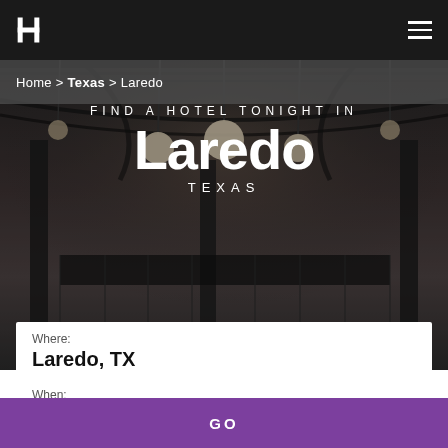H [logo] | [hamburger menu]
Home > Texas > Laredo
[Figure (photo): Interior of a hotel lobby with pendant globe lights hanging from a dark ceiling with exposed beams and structural columns, moody dark ambiance]
FIND A HOTEL TONIGHT IN Laredo TEXAS
Where: Laredo, TX
When: Tonight
GO